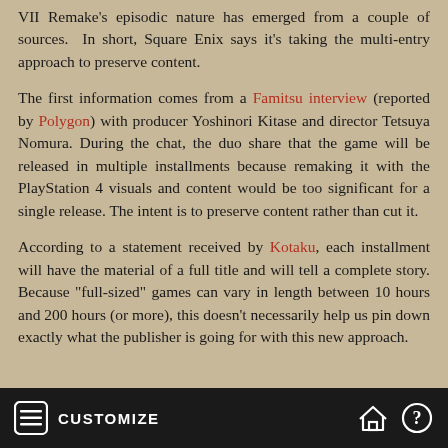VII Remake's episodic nature has emerged from a couple of sources. In short, Square Enix says it's taking the multi-entry approach to preserve content.
The first information comes from a Famitsu interview (reported by Polygon) with producer Yoshinori Kitase and director Tetsuya Nomura. During the chat, the duo share that the game will be released in multiple installments because remaking it with the PlayStation 4 visuals and content would be too significant for a single release. The intent is to preserve content rather than cut it.
According to a statement received by Kotaku, each installment will have the material of a full title and will tell a complete story. Because "full-sized" games can vary in length between 10 hours and 200 hours (or more), this doesn't necessarily help us pin down exactly what the publisher is going for with this new approach.
CUSTOMIZE